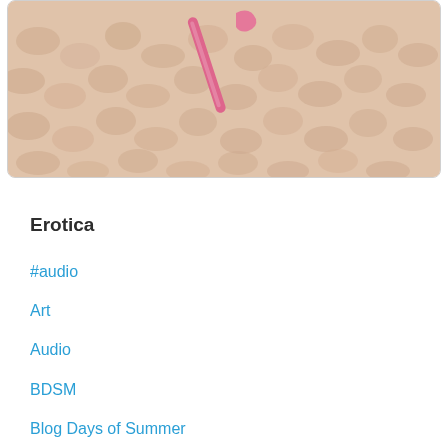[Figure (photo): Close-up photograph of crochet work with a pink crochet hook visible, showing textured yarn in beige/peach tones.]
Erotica
#audio
Art
Audio
BDSM
Blog Days of Summer
Blogs
Boobday